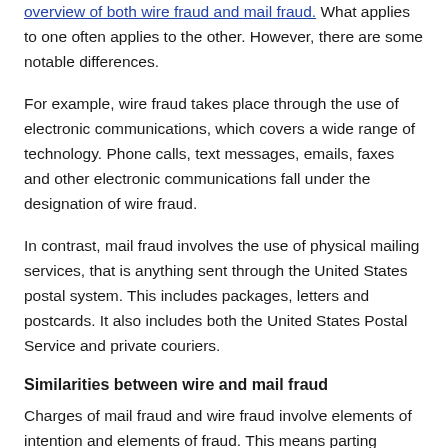overview of both wire fraud and mail fraud. What applies to one often applies to the other. However, there are some notable differences.
For example, wire fraud takes place through the use of electronic communications, which covers a wide range of technology. Phone calls, text messages, emails, faxes and other electronic communications fall under the designation of wire fraud.
In contrast, mail fraud involves the use of physical mailing services, that is anything sent through the United States postal system. This includes packages, letters and postcards. It also includes both the United States Postal Service and private couriers.
Similarities between wire and mail fraud
Charges of mail fraud and wire fraud involve elements of intention and elements of fraud. This means parting victims